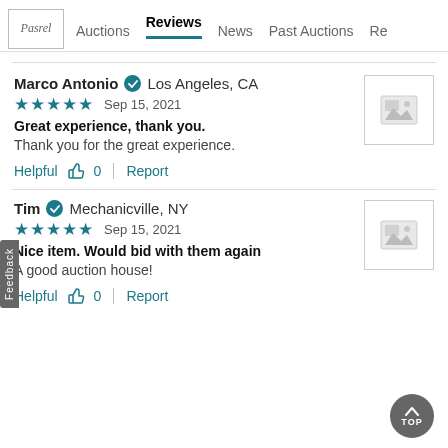Pasrel | Auctions | Reviews | News | Past Auctions | Re...
Marco Antonio ✓ Los Angeles, CA
★★★★★ Sep 15, 2021
Great experience, thank you.
Thank you for the great experience.
Helpful 👍 0 | Report
Tim ✓ Mechanicville, NY
★★★★★ Sep 15, 2021
Nice item. Would bid with them again
A good auction house!
Helpful 👍 0 | Report